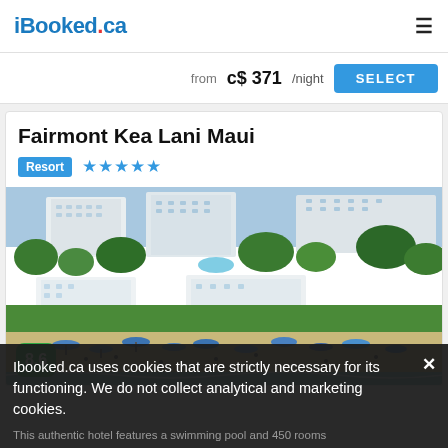iBooked.ca
from C$ 371/night
SELECT
Fairmont Kea Lani Maui
Resort ★★★★★
[Figure (photo): Aerial view of Fairmont Kea Lani Maui resort showing white multi-story hotel buildings surrounded by palm trees and tropical greenery, with a beach in the foreground featuring blue beach umbrellas and sunbathers, and ocean waves visible at the right edge. A green score badge showing 8.6 is in the lower left.]
Ibooked.ca uses cookies that are strictly necessary for its functioning. We do not collect analytical and marketing cookies.
This authentic hotel features a swimming pool and 450 rooms